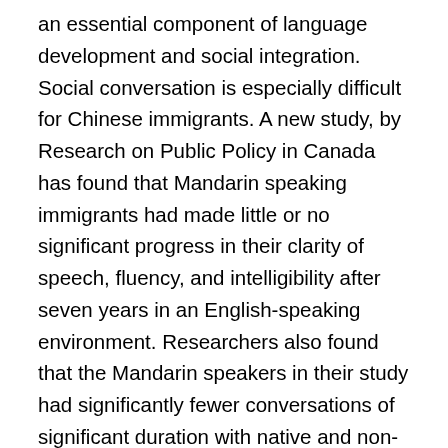an essential component of language development and social integration. Social conversation is especially difficult for Chinese immigrants. A new study, by Research on Public Policy in Canada has found that Mandarin speaking immigrants had made little or no significant progress in their clarity of speech, fluency, and intelligibility after seven years in an English-speaking environment. Researchers also found that the Mandarin speakers in their study had significantly fewer conversations of significant duration with native and non-native speakers of English than did their counterparts from other language backgrounds. There are many possible reasons for this gap in communication. Mainland Chinese learn English from textbooks through reading and writing with no opportunity to work on listening and speaking skills. As an American high school student, I learned French in this manner, with 90% of classroom instruction as grammar